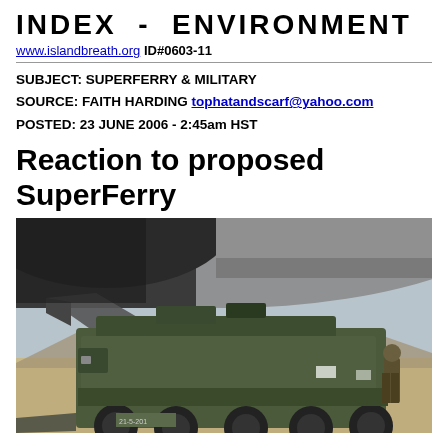INDEX - ENVIRONMENT
www.islandbreath.org ID#0603-11
SUBJECT: SUPERFERRY & MILITARY
SOURCE: FAITH HARDING tophatandscarf@yahoo.com
POSTED: 23 JUNE 2006 - 2:45am HST
Reaction to proposed SuperFerry
[Figure (photo): Military armored vehicle (Stryker) being loaded or unloaded from a large military aircraft cargo bay in a desert environment. A soldier is visible near the vehicle. The vehicle has the number 21-5-201 visible on its front.]